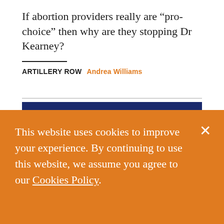If abortion providers really are “pro-choice” then why are they stopping Dr Kearney?
ARTILLERY ROW  Andrea Williams
[Figure (illustration): Animation still showing a cartoon character in a white sheet (ghost-like figure) being unmasked by a blond male cartoon character on a dark blue background, in the style of Scooby-Doo.]
This website uses cookies to improve your experience. By continuing to use this website, we assume you agree to our Cookies Policy.